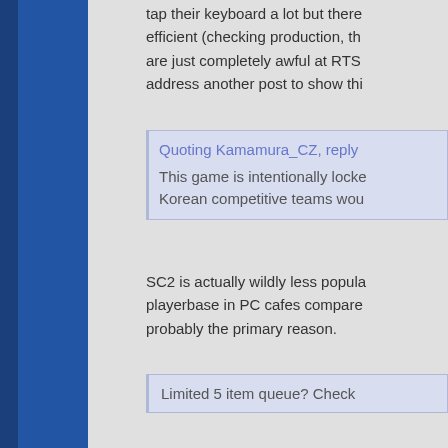tap their keyboard a lot but there efficient (checking production, th are just completely awful at RTS address another post to show thi
Quoting Kamamura_CZ, reply
This game is intentionally locke Korean competitive teams wou
SC2 is actually wildly less popula playerbase in PC cafes compare probably the primary reason.
Limited 5 item queue? Check
Like, the only scenario wherein a spending is not frontloaded. I wo